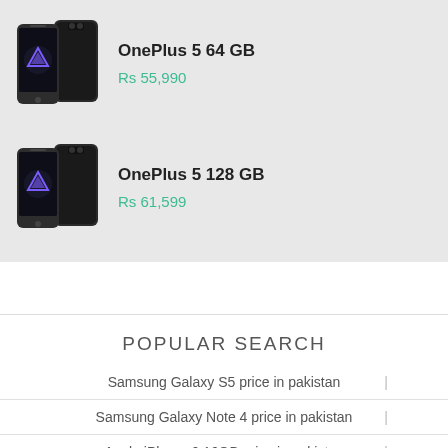[Figure (photo): OnePlus 5 64GB smartphone front and back view]
OnePlus 5 64 GB
Rs 55,990
[Figure (photo): OnePlus 5 128GB smartphone front and back view]
OnePlus 5 128 GB
Rs 61,599
POPULAR SEARCH
Samsung Galaxy S5 price in pakistan
Samsung Galaxy Note 4 price in pakistan
Apple iPhone 6 16GB price in pakistan